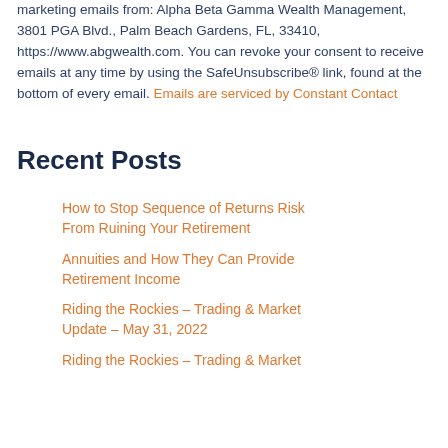marketing emails from: Alpha Beta Gamma Wealth Management, 3801 PGA Blvd., Palm Beach Gardens, FL, 33410, https://www.abgwealth.com. You can revoke your consent to receive emails at any time by using the SafeUnsubscribe® link, found at the bottom of every email. Emails are serviced by Constant Contact
Recent Posts
How to Stop Sequence of Returns Risk From Ruining Your Retirement
Annuities and How They Can Provide Retirement Income
Riding the Rockies – Trading & Market Update – May 31, 2022
Riding the Rockies – Trading & Market